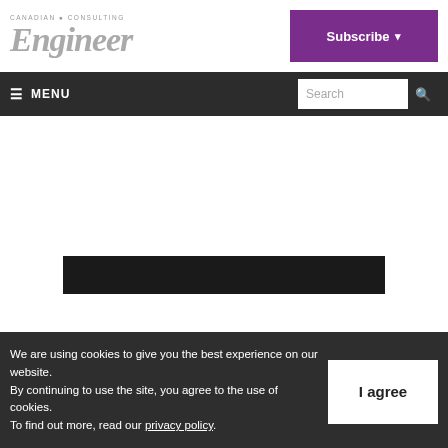CANADIAN CONSULTING Engineer
[Figure (screenshot): Subscribe button with purple background and dropdown arrow]
[Figure (screenshot): Navigation bar with hamburger menu (MENU) on left and Search box on right]
[Figure (photo): Dark/black image bar partially visible at bottom of white content area]
We are using cookies to give you the best experience on our website. By continuing to use the site, you agree to the use of cookies. To find out more, read our privacy policy.
[Figure (screenshot): I agree button in white with dark text]